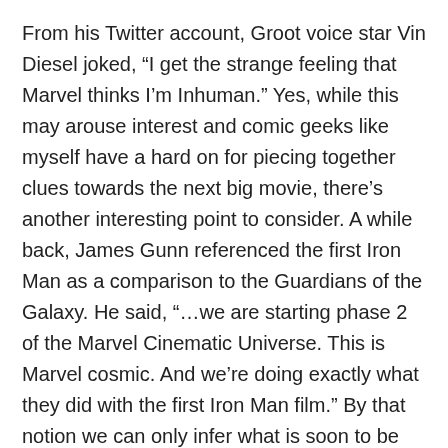From his Twitter account, Groot voice star Vin Diesel joked, “I get the strange feeling that Marvel thinks I’m Inhuman.” Yes, while this may arouse interest and comic geeks like myself have a hard on for piecing together clues towards the next big movie, there’s another interesting point to consider. A while back, James Gunn referenced the first Iron Man as a comparison to the Guardians of the Galaxy. He said, “…we are starting phase 2 of the Marvel Cinematic Universe. This is Marvel cosmic. And we’re doing exactly what they did with the first Iron Man film.” By that notion we can only infer what is soon to be unfolded within the next few years; which is an exploration of more that lies past Earth’s atmosphere. With Thanos as the all-powerful villain looming over the MCU, the Infinity Stones spread across the universe, and a